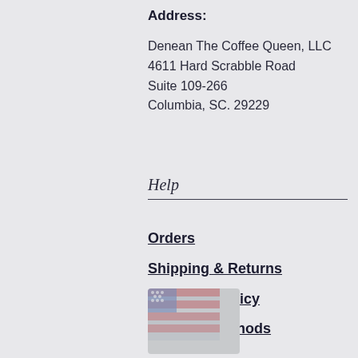Address:
Denean The Coffee Queen, LLC
4611 Hard Scrabble Road
Suite 109-266
Columbia, SC. 29229
Help
Orders
Shipping & Returns
Company Policy
Payment Methods
[Figure (photo): Blurred image of what appears to be a US flag or similar patriotic imagery with red, white, and blue colors]